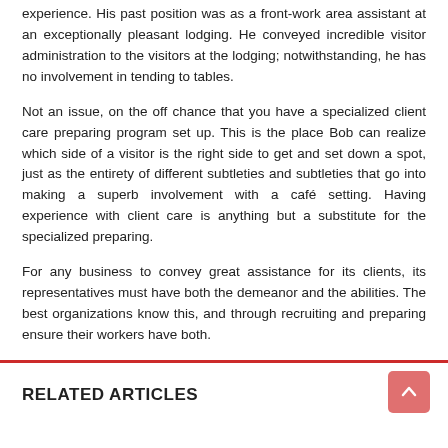experience. His past position was as a front-work area assistant at an exceptionally pleasant lodging. He conveyed incredible visitor administration to the visitors at the lodging; notwithstanding, he has no involvement in tending to tables.
Not an issue, on the off chance that you have a specialized client care preparing program set up. This is the place Bob can realize which side of a visitor is the right side to get and set down a spot, just as the entirety of different subtleties and subtleties that go into making a superb involvement with a café setting. Having experience with client care is anything but a substitute for the specialized preparing.
For any business to convey great assistance for its clients, its representatives must have both the demeanor and the abilities. The best organizations know this, and through recruiting and preparing ensure their workers have both.
RELATED ARTICLES